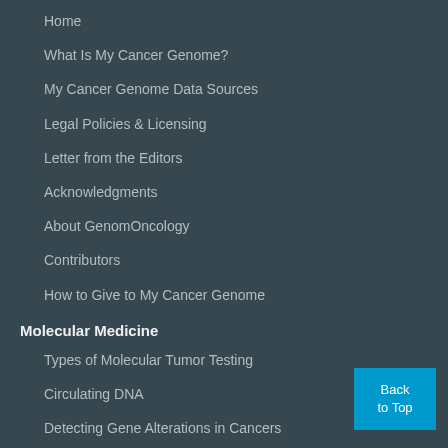Home
What Is My Cancer Genome?
My Cancer Genome Data Sources
Legal Policies & Licensing
Letter from the Editors
Acknowledgments
About GenomOncology
Contributors
How to Give to My Cancer Genome
Molecular Medicine
Types of Molecular Tumor Testing
Circulating DNA
Detecting Gene Alterations in Cancers